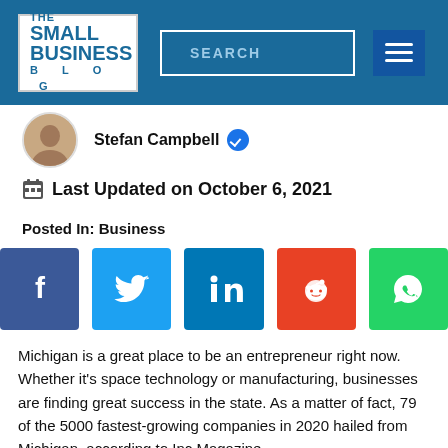[Figure (logo): The Small Business Blog logo in white box with blue background header, search bar, and hamburger menu]
Stefan Campbell ✓
Last Updated on October 6, 2021
Posted In: Business
[Figure (infographic): Social share buttons: Facebook, Twitter, LinkedIn, Reddit, WhatsApp]
Michigan is a great place to be an entrepreneur right now. Whether it's space technology or manufacturing, businesses are finding great success in the state. As a matter of fact, 79 of the 5000 fastest-growing companies in 2020 hailed from Michigan, according to Inc Magazine.